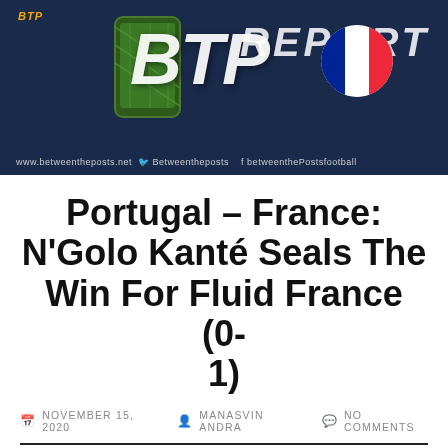[Figure (illustration): Between The Posts report banner with dark blue background, BTP logo text, large stylized 'BTP' letters, a phone/tablet graphic, 'REPORT' text, French flag sphere, and social media handles at the bottom.]
Portugal – France: N'Golo Kanté Seals The Win For Fluid France (0-1)
NOVEMBER 15, 2020   MANASVIN ANDRA   NO COMMENTS
The rematch of the 2016 European Championship final saw the same scorelin